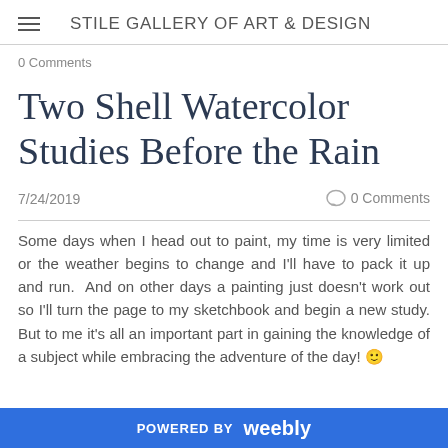STILE GALLERY OF ART & DESIGN
0 Comments
Two Shell Watercolor Studies Before the Rain
7/24/2019   0 Comments
Some days when I head out to paint, my time is very limited or the weather begins to change and I'll have to pack it up and run.  And on other days a painting just doesn't work out so I'll turn the page to my sketchbook and begin a new study. But to me it's all an important part in gaining the knowledge of a subject while embracing the adventure of the day! 🙂
POWERED BY weebly